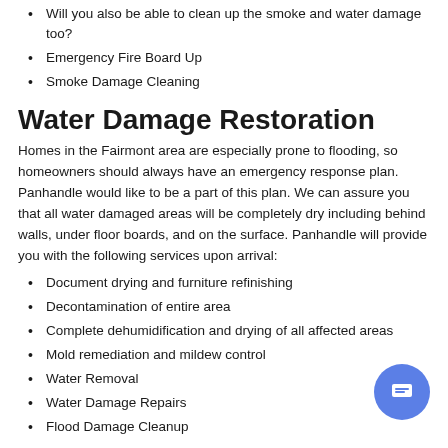Will you also be able to clean up the smoke and water damage too?
Emergency Fire Board Up
Smoke Damage Cleaning
Water Damage Restoration
Homes in the Fairmont area are especially prone to flooding, so homeowners should always have an emergency response plan. Panhandle would like to be a part of this plan. We can assure you that all water damaged areas will be completely dry including behind walls, under floor boards, and on the surface. Panhandle will provide you with the following services upon arrival:
Document drying and furniture refinishing
Decontamination of entire area
Complete dehumidification and drying of all affected areas
Mold remediation and mildew control
Water Removal
Water Damage Repairs
Flood Damage Cleanup
Mold Remediation